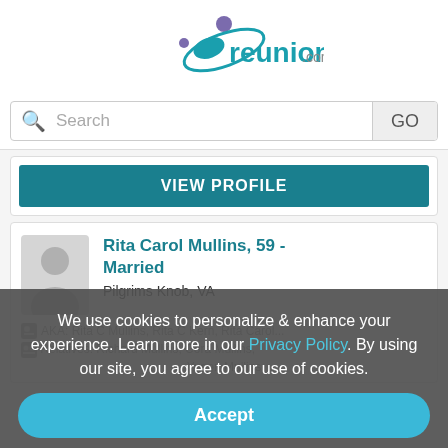[Figure (logo): reunion.com logo with teal and purple figure icon]
Search  GO
VIEW PROFILE
Rita Carol Mullins, 59 - Married
Pilgrims Knob, VA
AKA: Rita C Mullins, Rita C Kern, Rita Carol...
We use cookies to personalize & enhance your experience. Learn more in our Privacy Policy. By using our site, you agree to our use of cookies.
Richard Mullins, Cora Mullins,
Yunon Mullins
Accept